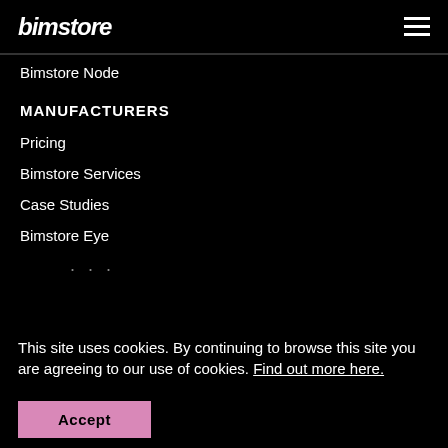bimstore [logo] [hamburger menu]
Bimstore Node
MANUFACTURERS
Pricing
Bimstore Services
Case Studies
Bimstore Eye
. . .
This site uses cookies. By continuing to browse this site you are agreeing to our use of cookies. Find out more here.
Accept